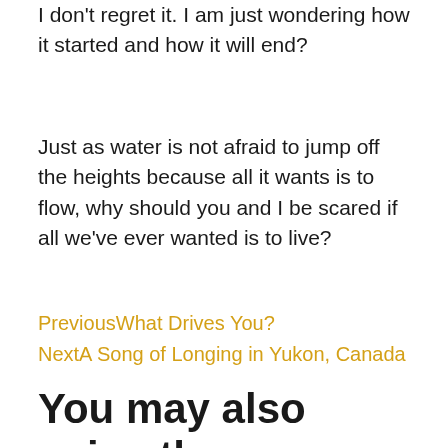I don't regret it. I am just wondering how it started and how it will end?
Just as water is not afraid to jump off the heights because all it wants is to flow, why should you and I be scared if all we've ever wanted is to live?
PreviousWhat Drives You?
NextA Song of Longing in Yukon, Canada
You may also enjoy these articles